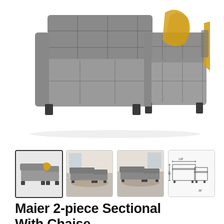[Figure (photo): Large product photo of a gray tufted 2-piece sectional sofa with chaise, viewed from a diagonal angle. A yellow throw blanket is draped on the right side. The sofa has dark wooden legs and sits on a white background.]
[Figure (photo): Thumbnail 1 (active/selected): Same gray sectional sofa with chaise, angled view, yellow blanket visible.]
[Figure (photo): Thumbnail 2: Gray sectional sofa in a room setting on a patterned rug.]
[Figure (photo): Thumbnail 3: Gray sectional sofa in a room setting, slightly different angle.]
[Figure (schematic): Thumbnail 4: Dimension diagram of the sectional sofa showing measurements and outline drawing.]
Maier 2-piece Sectional With Chaise